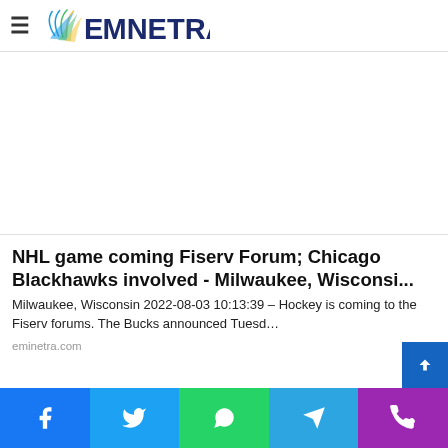EMNETRA
[Figure (other): Advertisement / blank white space area]
NHL game coming Fiserv Forum; Chicago Blackhawks involved - Milwaukee, Wisconsi...
Milwaukee, Wisconsin 2022-08-03 10:13:39 – Hockey is coming to the Fiserv forums. The Bucks announced Tuesd...
eminetra.com
Facebook Twitter WhatsApp Telegram Phone